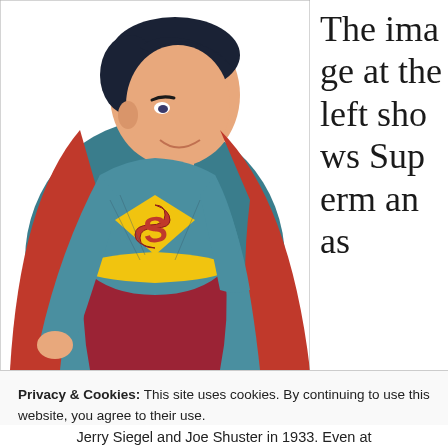[Figure (illustration): Comic book illustration of Superman in his classic blue suit with red cape and yellow belt, leaning forward in a dynamic pose. The S-shield on his chest is visible. Drawn in vintage comic book style.]
The image at the left shows Superman as
Privacy & Cookies: This site uses cookies. By continuing to use this website, you agree to their use.
To find out more, including how to control cookies, see here:
Cookie Policy
Close and accept
Jerry Siegel and Joe Shuster in 1933. Even at